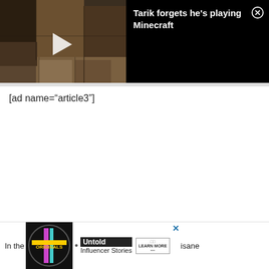[Figure (screenshot): Video thumbnail showing a dark Minecraft scene with wooden blocks, and a play button overlay. Next to it on black background is text: 'Tarik forgets he's playing Minecraft' with a close (X) button in top right.]
[ad name="article3"]
[Figure (screenshot): Bottom advertisement banner: 'In the' text on left, then ad logo area with 'ORIGINALS' stylized text, a dot bullet, 'Untold Influencer Stories' text, 'LEARN MORE' button, close X button, and partial text 'isane' on right.]